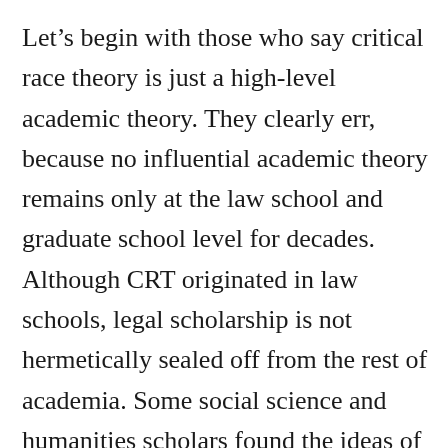Let's begin with those who say critical race theory is just a high-level academic theory. They clearly err, because no influential academic theory remains only at the law school and graduate school level for decades. Although CRT originated in law schools, legal scholarship is not hermetically sealed off from the rest of academia. Some social science and humanities scholars found the ideas of CRT useful for their scholarly pursuits and adopted them. Blossoming scholars then learned these ideas in graduate school and applied them in their own scholarly thinking, and then, when they got academic jobs, in their